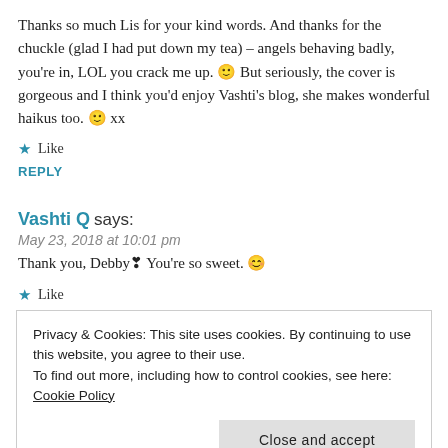Thanks so much Lis for your kind words. And thanks for the chuckle (glad I had put down my tea) – angels behaving badly, you're in, LOL you crack me up. 🙂 But seriously, the cover is gorgeous and I think you'd enjoy Vashti's blog, she makes wonderful haikus too. 🙂 xx
★ Like
REPLY
Vashti Q says:
May 23, 2018 at 10:01 pm
Thank you, Debby❣You're so sweet.😊
★ Like
Privacy & Cookies: This site uses cookies. By continuing to use this website, you agree to their use.
To find out more, including how to control cookies, see here: Cookie Policy
Close and accept